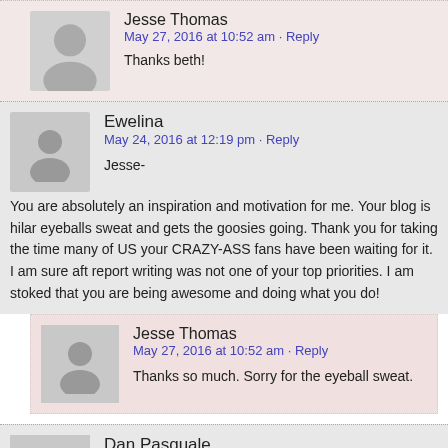Jesse Thomas
May 27, 2016 at 10:52 am · Reply
Thanks beth!
Ewelina
May 24, 2016 at 12:19 pm · Reply
Jesse-
You are absolutely an inspiration and motivation for me. Your blog is hilar... eyeballs sweat and gets the goosies going. Thank you for taking the time... many of US your CRAZY-ASS fans have been waiting for it. I am sure aft... report writing was not one of your top priorities. I am stoked that you are ... being awesome and doing what you do!
Jesse Thomas
May 27, 2016 at 10:52 am · Reply
Thanks so much. Sorry for the eyeball sweat.
Dan Pasquale
May 24, 2016 at 1:00 · Reply